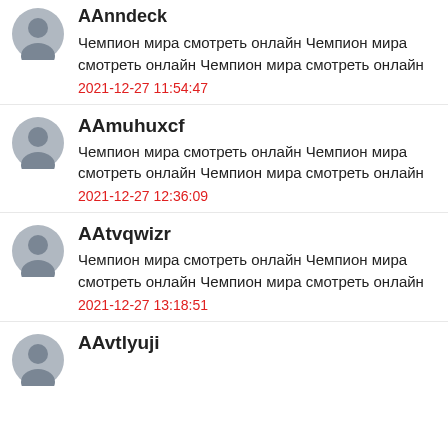AAnndеck
Чемпион мира смотреть онлайн Чемпион мира смотреть онлайн Чемпион мира смотреть онлайн
2021-12-27 11:54:47
AAmuhuxcf
Чемпион мира смотреть онлайн Чемпион мира смотреть онлайн Чемпион мира смотреть онлайн
2021-12-27 12:36:09
AAtvqwizr
Чемпион мира смотреть онлайн Чемпион мира смотреть онлайн Чемпион мира смотреть онлайн
2021-12-27 13:18:51
AAvtlyuji